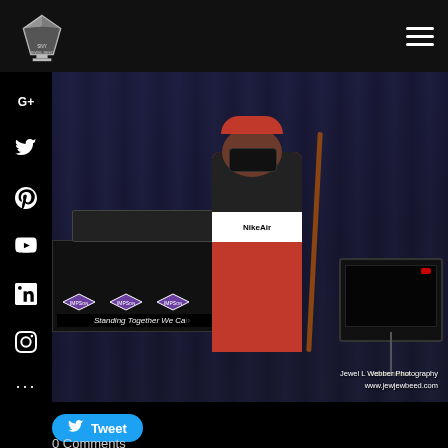[Figure (logo): Diamond logo for SNY Jewel Beed website in top left navigation]
[Figure (photo): Person wearing Nike Air tracksuit and red cap, holding microphone and cane, performing on stage. Behind them is a DJ table with a banner reading 'Standing Together We Can'. In the background is a TV/monitor on a stand. Photo watermark: Jewel L Webber Photography www.jewjewbeed.com]
[Figure (infographic): Social media sidebar with icons: G+, Twitter, Pinterest, YouTube, LinkedIn, Instagram, and more (...)]
[Figure (other): Tweet button with Twitter bird icon]
0 Comments